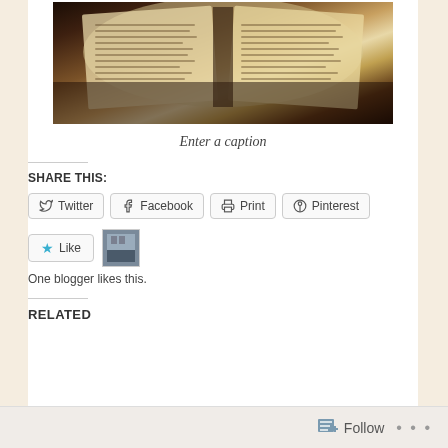[Figure (photo): Open Bible/book resting on a dark wooden surface, photographed from above at an angle, with warm brown tones and visible text pages.]
Enter a caption
SHARE THIS:
Twitter  Facebook  Print  Pinterest
Like  One blogger likes this.
RELATED
Follow ...